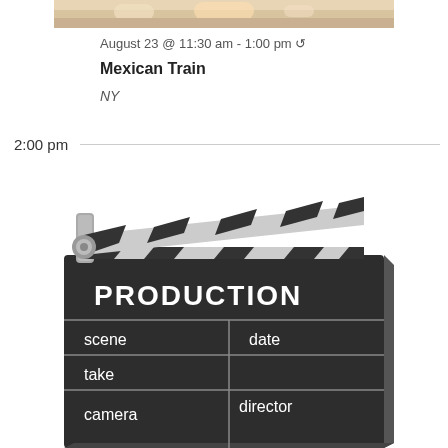[Figure (photo): Top portion of a food photo, cropped at the top of the page]
August 23 @ 11:30 am - 1:00 pm ↺
Mexican Train
NY
2:00 pm
[Figure (illustration): Clapperboard illustration with fields: PRODUCTION, scene, take, camera, date, director]